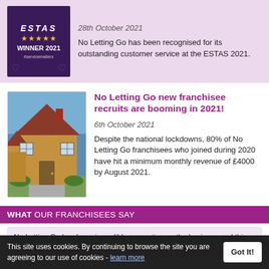[Figure (logo): ESTAS award badge - dark purple background, star rating, WINNER 2021, #servicematters]
28th October 2021

No Letting Go has been recognised for its outstanding customer service at the ESTAS 2021.
[Figure (photo): Photo of a brick house/property exterior with blue sky]
No Letting Go new franchisee recruits are booming in 2021!
6th October 2021

Despite the national lockdowns, 80% of No Letting Go franchisees who joined during 2020 have hit a minimum monthly revenue of £4000 by August 2021.
WHAT OUR FRANCHISEES SAY
No Letting Go has been incredibly supportive on the business and this direction, showing you the way, you are not alone, di... Alan Percival, Leeds
This site uses cookies. By continuing to browse the site you are agreeing to our use of cookies - learn more